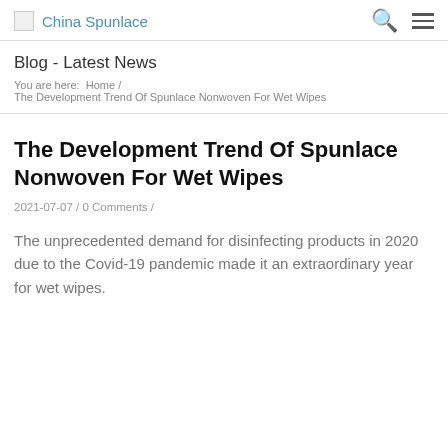China Spunlace
Blog - Latest News
You are here:  Home /
The Development Trend Of Spunlace Nonwoven For Wet Wipes
The Development Trend Of Spunlace Nonwoven For Wet Wipes
2021-07-07 / 0 Comments /
The unprecedented demand for disinfecting products in 2020 due to the Covid-19 pandemic made it an extraordinary year for wet wipes.